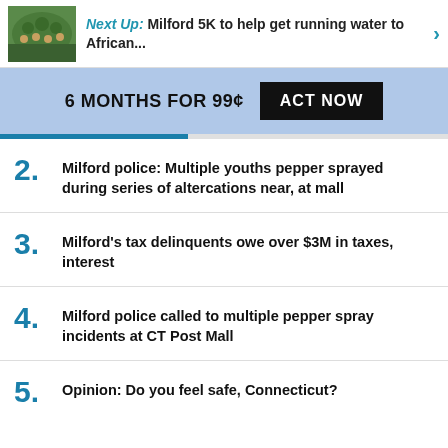Next Up: Milford 5K to help get running water to African...
6 MONTHS FOR 99¢  ACT NOW
2. Milford police: Multiple youths pepper sprayed during series of altercations near, at mall
3. Milford's tax delinquents owe over $3M in taxes, interest
4. Milford police called to multiple pepper spray incidents at CT Post Mall
5. Opinion: Do you feel safe, Connecticut?